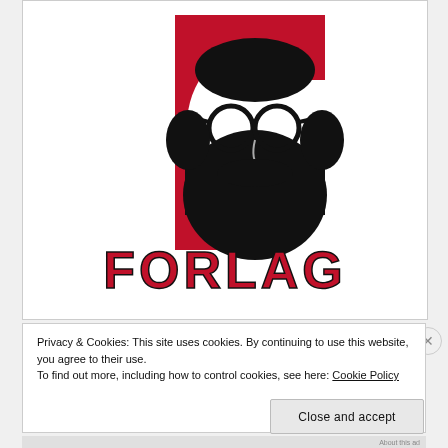[Figure (logo): Forlag publisher logo: stylized letter F in red/crimson with a bearded man wearing glasses overlaid on it. Bold red text 'FORLAG' beneath. Black and white illustration on red background shapes.]
Privacy & Cookies: This site uses cookies. By continuing to use this website, you agree to their use.
To find out more, including how to control cookies, see here: Cookie Policy
Close and accept